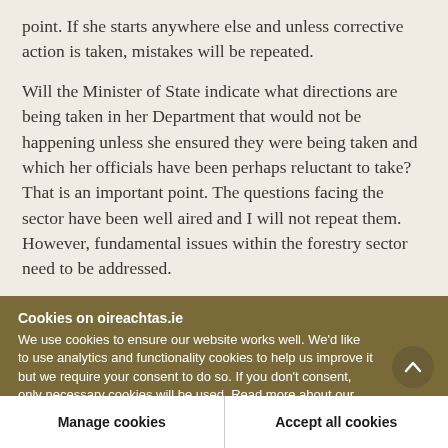point. If she starts anywhere else and unless corrective action is taken, mistakes will be repeated.
Will the Minister of State indicate what directions are being taken in her Department that would not be happening unless she ensured they were being taken and which her officials have been perhaps reluctant to take? That is an important point. The questions facing the sector have been well aired and I will not repeat them. However, fundamental issues within the forestry sector need to be addressed.
Cookies on oireachtas.ie
We use cookies to ensure our website works well. We'd like to use analytics and functionality cookies to help us improve it but we require your consent to do so. If you don't consent, only necessary cookies will be used. Read more about our cookies
Manage cookies
Accept all cookies